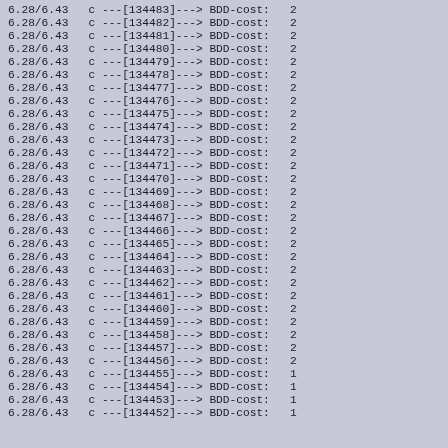6.28/6.43   c ---[134483]---> BDD-cost:   2
6.28/6.43   c ---[134482]---> BDD-cost:   2
6.28/6.43   c ---[134481]---> BDD-cost:   2
6.28/6.43   c ---[134480]---> BDD-cost:   2
6.28/6.43   c ---[134479]---> BDD-cost:   2
6.28/6.43   c ---[134478]---> BDD-cost:   2
6.28/6.43   c ---[134477]---> BDD-cost:   2
6.28/6.43   c ---[134476]---> BDD-cost:   2
6.28/6.43   c ---[134475]---> BDD-cost:   2
6.28/6.43   c ---[134474]---> BDD-cost:   2
6.28/6.43   c ---[134473]---> BDD-cost:   2
6.28/6.43   c ---[134472]---> BDD-cost:   2
6.28/6.43   c ---[134471]---> BDD-cost:   2
6.28/6.43   c ---[134470]---> BDD-cost:   2
6.28/6.43   c ---[134469]---> BDD-cost:   2
6.28/6.43   c ---[134468]---> BDD-cost:   2
6.28/6.43   c ---[134467]---> BDD-cost:   2
6.28/6.43   c ---[134466]---> BDD-cost:   2
6.28/6.43   c ---[134465]---> BDD-cost:   2
6.28/6.43   c ---[134464]---> BDD-cost:   2
6.28/6.43   c ---[134463]---> BDD-cost:   2
6.28/6.43   c ---[134462]---> BDD-cost:   2
6.28/6.43   c ---[134461]---> BDD-cost:   2
6.28/6.43   c ---[134460]---> BDD-cost:   2
6.28/6.43   c ---[134459]---> BDD-cost:   2
6.28/6.43   c ---[134458]---> BDD-cost:   2
6.28/6.43   c ---[134457]---> BDD-cost:   2
6.28/6.43   c ---[134456]---> BDD-cost:   2
6.28/6.43   c ---[134455]---> BDD-cost:   1
6.28/6.43   c ---[134454]---> BDD-cost:   1
6.28/6.43   c ---[134453]---> BDD-cost:   1
6.28/6.43   c ---[134452]---> BDD-cost:   1